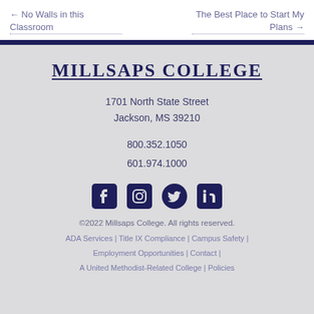← No Walls in this Classroom
The Best Place to Start My Plans →
MILLSAPS COLLEGE
1701 North State Street
Jackson, MS 39210
800.352.1050
601.974.1000
[Figure (illustration): Social media icons: Facebook, Instagram, Twitter, LinkedIn]
©2022 Millsaps College. All rights reserved.
ADA Services | Title IX Compliance | Campus Safety | Employment Opportunities | Contact | A United Methodist-Related College | Policies